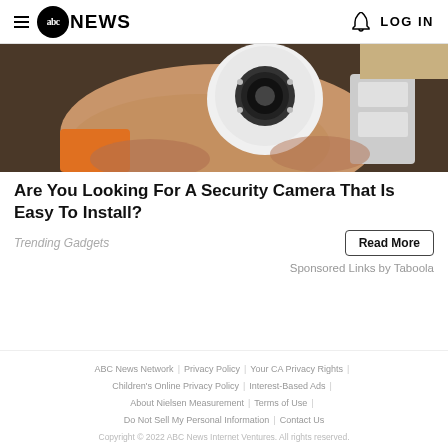abc NEWS  LOG IN
[Figure (photo): Hand holding a white dome security camera with installation hardware visible in the background]
Are You Looking For A Security Camera That Is Easy To Install?
Trending Gadgets
Read More
Sponsored Links by Taboola
ABC News Network | Privacy Policy | Your CA Privacy Rights | Children's Online Privacy Policy | Interest-Based Ads | About Nielsen Measurement | Terms of Use | Do Not Sell My Personal Information | Contact Us
Copyright © 2022 ABC News Internet Ventures. All rights reserved.